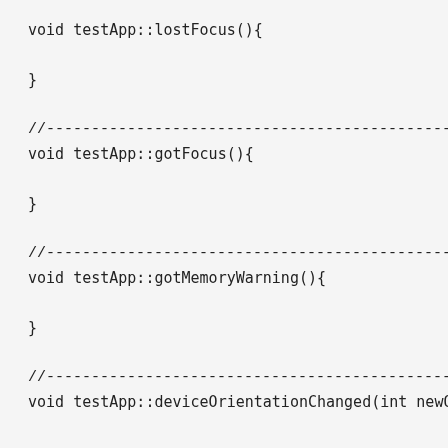void testApp::lostFocus(){
}
//--------------------------------------------------------------
void testApp::gotFocus(){
}
//--------------------------------------------------------------
void testApp::gotMemoryWarning(){
}
//--------------------------------------------------------------
void testApp::deviceOrientationChanged(int newOrienta